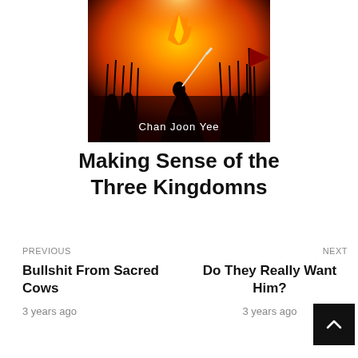[Figure (illustration): Book cover for 'Making Sense of the Three Kingdoms' by Chan Joon Yee. Orange and red dramatic scene showing warriors/soldiers silhouetted against a fiery sky with spears and a flag. Author name 'Chan Joon Yee' shown in white text at the bottom of the cover image.]
Making Sense of the Three Kingdomns
PREVIOUS
Bullshit From Sacred Cows
3 years ago
NEXT
Do They Really Want Him?
3 years ago